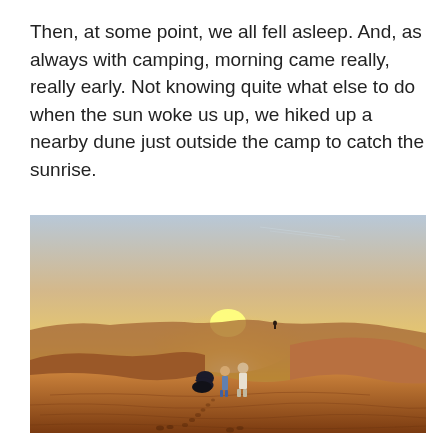Then, at some point, we all fell asleep. And, as always with camping, morning came really, really early. Not knowing quite what else to do when the sun woke us up, we hiked up a nearby dune just outside the camp to catch the sunrise.
[Figure (photo): A family group sitting and standing on a desert sand dune at sunrise. The sky glows yellow and orange near the horizon where the sun is rising behind a dune ridge. The surrounding landscape is rolling red-orange sand dunes with footprints visible in the foreground sand.]